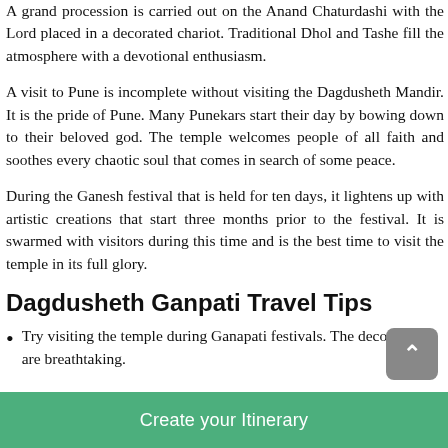A grand procession is carried out on the Anand Chaturdashi with the Lord placed in a decorated chariot. Traditional Dhol and Tashe fill the atmosphere with a devotional enthusiasm.
A visit to Pune is incomplete without visiting the Dagdusheth Mandir. It is the pride of Pune. Many Punekars start their day by bowing down to their beloved god. The temple welcomes people of all faith and soothes every chaotic soul that comes in search of some peace.
During the Ganesh festival that is held for ten days, it lightens up with artistic creations that start three months prior to the festival. It is swarmed with visitors during this time and is the best time to visit the temple in its full glory.
Dagdusheth Ganpati Travel Tips
Try visiting the temple during Ganapati festivals. The decorations are breathtaking.
Create your Itinerary